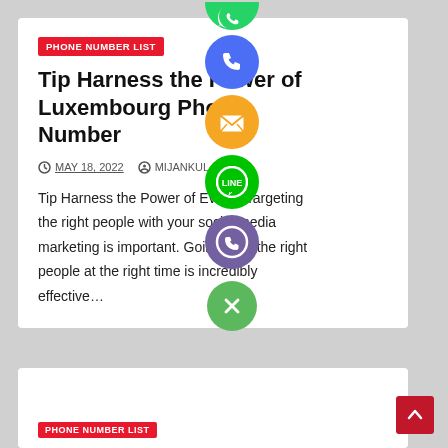PHONE NUMBER LIST
Tip Harness the Power of Luxembourg Phone Number
MAY 18, 2022   MIJANKUL
Tip Harness the Power of Events Targeting the right people with your social media marketing is important. Going after the right people at the right time is incredibly effective…
[Figure (illustration): Social media sharing icons column: WhatsApp (green), Phone/Viber (blue), Email (orange), LINE (green), Viber (purple), and a green close button]
PHONE NUMBER LIST